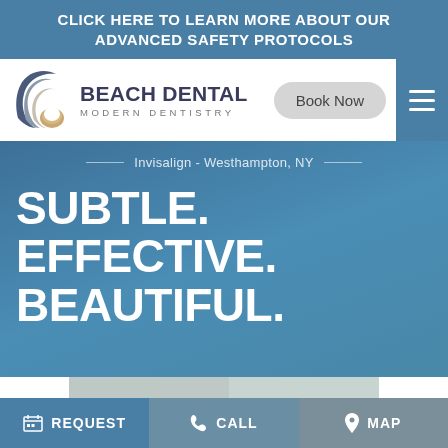CLICK HERE TO LEARN MORE ABOUT OUR ADVANCED SAFETY PROTOCOLS
[Figure (logo): Beach Dental Modern Dentistry logo with wave/tooth graphic and Book Now button and hamburger menu]
Invisalign - Westhampton, NY
SUBTLE. EFFECTIVE. BEAUTIFUL.
[Figure (photo): Top of a person's head with dark hair, partially visible against a light background]
REQUEST   CALL   MAP